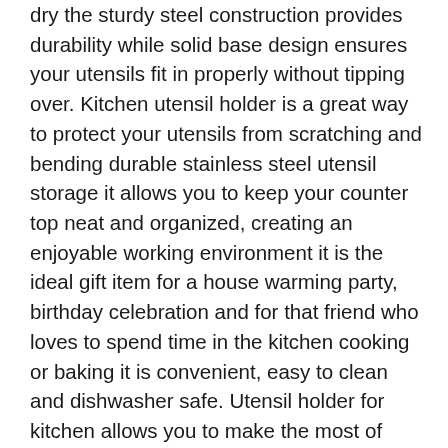dry the sturdy steel construction provides durability while solid base design ensures your utensils fit in properly without tipping over. Kitchen utensil holder is a great way to protect your utensils from scratching and bending durable stainless steel utensil storage it allows you to keep your counter top neat and organized, creating an enjoyable working environment it is the ideal gift item for a house warming party, birthday celebration and for that friend who loves to spend time in the kitchen cooking or baking it is convenient, easy to clean and dishwasher safe. Utensil holder for kitchen allows you to make the most of your kitchen space it makes a statement of good taste on your kitchen counter and adds a very professional chef look and feel to your cooking brushed stainless steel finish that looks clean and modern you can now see whats in there without rummaging through the whole cooking accessories in a drawer this stand features a simple design that beautifully enhances your kitchens decor. Kitchen utensil organizer fits just about any size spoon while taking up little room on your counter can hold all the different accessories comfortably roomy enough for long